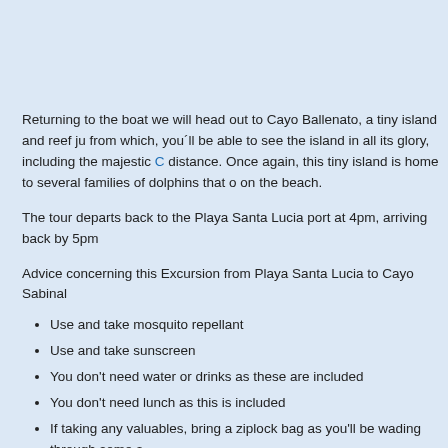Returning to the boat we will head out to Cayo Ballenato, a tiny island and reef ju... from which, you´ll be able to see the island in all its glory, including the majestic C... distance. Once again, this tiny island is home to several families of dolphins that... on the beach.
The tour departs back to the Playa Santa Lucia port at 4pm, arriving back by 5pm...
Advice concerning this Excursion from Playa Santa Lucia to Cayo Sabinal
Use and take mosquito repellant
Use and take sunscreen
You don't need water or drinks as these are included
You don't need lunch as this is included
If taking any valuables, bring a ziplock bag as you'll be wading through some s...
You don't need snorkels or fins as these are supplied
You can book this excursion at the reception desk of your hotel. Click for more de...